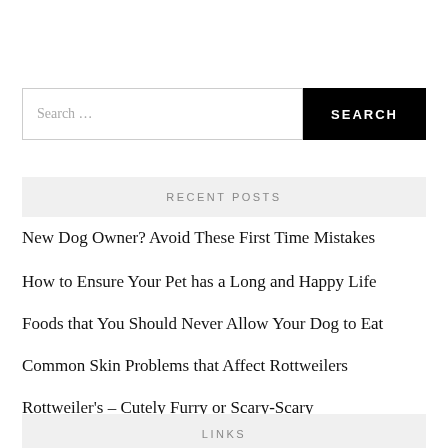[Figure (screenshot): Search bar with text input field reading 'Search ...' and a black SEARCH button]
RECENT POSTS
New Dog Owner? Avoid These First Time Mistakes
How to Ensure Your Pet has a Long and Happy Life
Foods that You Should Never Allow Your Dog to Eat
Common Skin Problems that Affect Rottweilers
Rottweiler's – Cutely Furry or Scary-Scary
LINKS